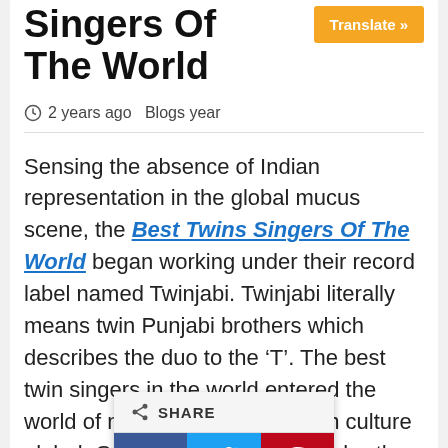Singers Of The World
Translate »
2 years ago  Blogs year
Sensing the absence of Indian representation in the global mucus scene, the Best Twins Singers Of The World began working under their record label named Twinjabi. Twinjabi literally means twin Punjabi brothers which describes the duo to the 'T'. The best twin singers in the world entered the world of music to take the Indian culture global. Growing up in Kentucky, the best twin singers in the world realised that … by Indian